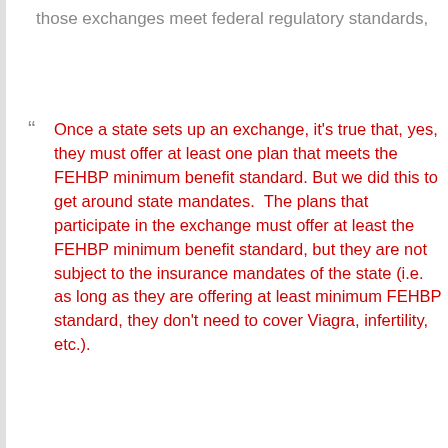those exchanges meet federal regulatory standards,
Once a state sets up an exchange, it's true that, yes, they must offer at least one plan that meets the FEHBP minimum benefit standard. But we did this to get around state mandates. The plans that participate in the exchange must offer at least the FEHBP minimum benefit standard, but they are not subject to the insurance mandates of the state (i.e. as long as they are offering at least minimum FEHBP standard, they don't need to cover Viagra, infertility, etc.).